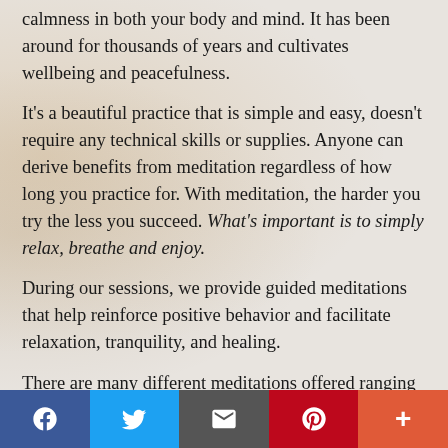calmness in both your body and mind. It has been around for thousands of years and cultivates wellbeing and peacefulness.
It's a beautiful practice that is simple and easy, doesn't require any technical skills or supplies. Anyone can derive benefits from meditation regardless of how long you practice for. With meditation, the harder you try the less you succeed. What's important is to simply relax, breathe and enjoy.
During our sessions, we provide guided meditations that help reinforce positive behavior and facilitate relaxation, tranquility, and healing.
There are many different meditations offered ranging from 20 minutes to 1 hour. Classes can be private, one on one or groups.  On line, sessions are also offered. See
[Figure (other): Social media sharing bar with Facebook, Twitter, Email, Pinterest, and More buttons]